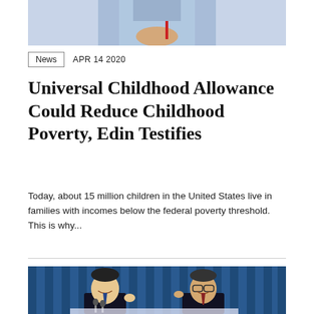[Figure (photo): Partial view of a person in a light blue shirt holding a red pen, cropped at waist level]
News   APR 14 2020
Universal Childhood Allowance Could Reduce Childhood Poverty, Edin Testifies
Today, about 15 million children in the United States live in families with incomes below the federal poverty threshold. This is why...
[Figure (photo): Two men in dark suits smiling and gesturing at a press conference with microphones and a blue curtain backdrop]